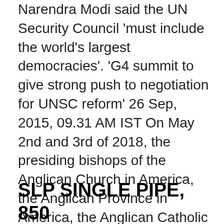Narendra Modi said the UN Security Council 'must include the world's largest democracies'. 'G4 summit to give strong push to negotiation for UNSC reform' 26 Sep, 2015, 09.31 AM IST On May 2nd and 3rd of 2018, the presiding bishops of the Anglican Church in America, the Anglican Province in America, the Anglican Catholic Church, and the Diocese of the Holy Cross came together at St. Luke's Anglican Church in Amherst, NH to share and develop an administration of Anglican tradition so that Anglicans in […] The Big Four, also known as G4, refers to France, Germany, Italy and the United Kingdom. ski doo g4 | titanium front a arm bolt kit.
SLP SINGLE PIPE, 850 SUMMIT / FREERIDE G4 REV...